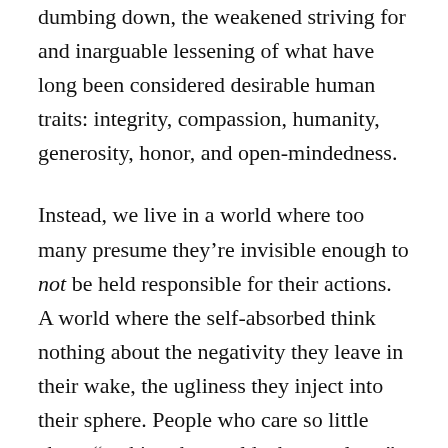dumbing down, the weakened striving for and inarguable lessening of what have long been considered desirable human traits: integrity, compassion, humanity, generosity, honor, and open-mindedness.
Instead, we live in a world where too many presume they're invisible enough to not be held responsible for their actions. A world where the self-absorbed think nothing about the negativity they leave in their wake, the ugliness they inject into their sphere. People who care so little about “making the world a better place,” or “living an admirable life, even if for no one but oneself,” that they pillage and plunder with